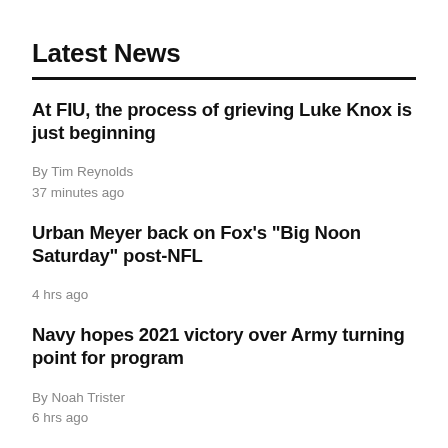Latest News
At FIU, the process of grieving Luke Knox is just beginning
By Tim Reynolds
37 minutes ago
Urban Meyer back on Fox's "Big Noon Saturday" post-NFL
4 hrs ago
Navy hopes 2021 victory over Army turning point for program
By Noah Trister
6 hrs ago
No. 25 BYU has experienced crew in final independent